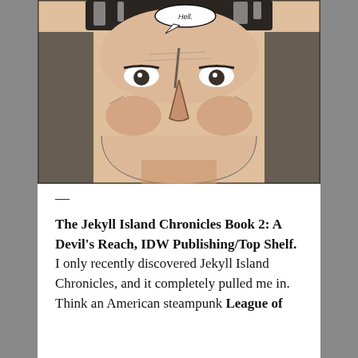[Figure (illustration): Comic book panel showing a close-up of a man's face with intense expression. A speech bubble at the top reads 'Hell.' The illustration is in a detailed, crosshatched ink style with skin tones.]
— The Jekyll Island Chronicles Book 2: A Devil's Reach, IDW Publishing/Top Shelf. I only recently discovered Jekyll Island Chronicles, and it completely pulled me in. Think an American steampunk League of…